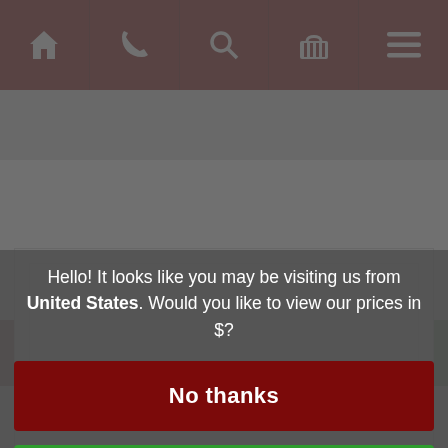[Figure (screenshot): Website navigation bar with dark red background showing home, phone, search, basket, and menu icons in white]
[Figure (screenshot): Two buttons: dark red Quick View button on left, green More Info button on right]
Hello! It looks like you may be visiting us from United States. Would you like to view our prices in $?
No thanks
Yes please!